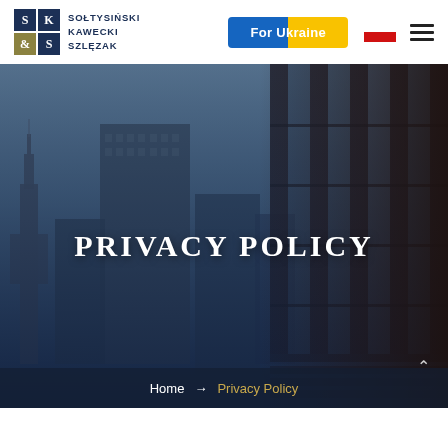[Figure (logo): SK&S Sołtysiński Kawecki & Szlęzak law firm logo with grid of squares and firm name]
[Figure (other): For Ukraine button with blue and yellow background]
[Figure (photo): Hero image of Warsaw cityscape with buildings and glass facade overlay, dark blue tint]
PRIVACY POLICY
Home → Privacy Policy